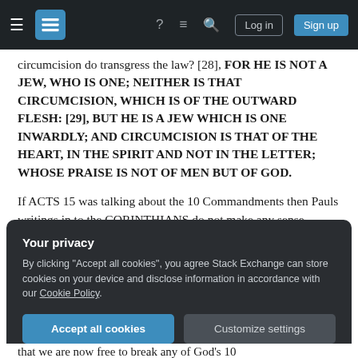Stack Exchange navigation bar with hamburger menu, logo, help icon, chat icon, search icon, Log in button, Sign up button
circumcision do transgress the law? [28], FOR HE IS NOT A JEW, WHO IS ONE; NEITHER IS THAT CIRCUMCISION, WHICH IS OF THE OUTWARD FLESH: [29], BUT HE IS A JEW WHICH IS ONE INWARDLY; AND CIRCUMCISION IS THAT OF THE HEART, IN THE SPIRIT AND NOT IN THE LETTER; WHOSE PRAISE IS NOT OF MEN BUT OF GOD.
If ACTS 15 was talking about the 10 Commandments then Pauls writings in to the CORINTHIANS do not make any sense.
Your privacy
By clicking "Accept all cookies", you agree Stack Exchange can store cookies on your device and disclose information in accordance with our Cookie Policy.
that we are now free to break any of God's 10